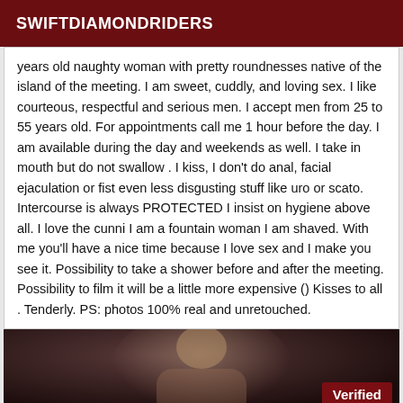SWIFTDIAMONDRIDERS
years old naughty woman with pretty roundnesses native of the island of the meeting. I am sweet, cuddly, and loving sex. I like courteous, respectful and serious men. I accept men from 25 to 55 years old. For appointments call me 1 hour before the day. I am available during the day and weekends as well. I take in mouth but do not swallow . I kiss, I don't do anal, facial ejaculation or fist even less disgusting stuff like uro or scato. Intercourse is always PROTECTED I insist on hygiene above all. I love the cunni I am a fountain woman I am shaved. With me you'll have a nice time because I love sex and I make you see it. Possibility to take a shower before and after the meeting. Possibility to film it will be a little more expensive () Kisses to all . Tenderly. PS: photos 100% real and unretouched.
[Figure (photo): Partial photo of a woman with a Verified badge overlay in the bottom right corner]